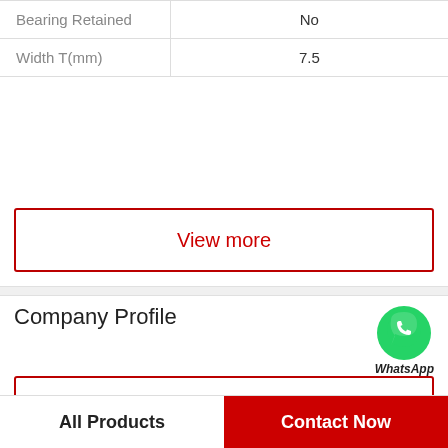| Property | Value |
| --- | --- |
| Bearing Retained | No |
| Width T(mm) | 7.5 |
View more
Company Profile
[Figure (logo): WhatsApp green circle icon with phone handset, labeled WhatsApp Online in italic bold text]
UN   BEARINGS(UK)LTD.
Phone   33-2-43-16-9030
View more
All Products
Contact Now